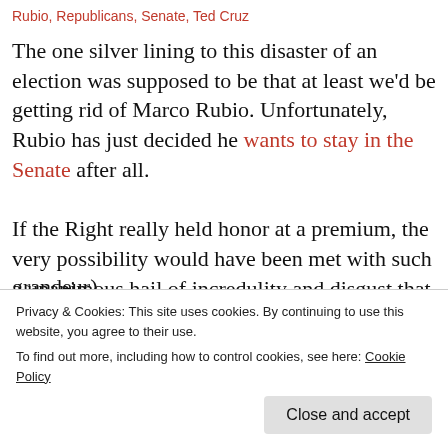Rubio, Republicans, Senate, Ted Cruz
The one silver lining to this disaster of an election was supposed to be that at least we'd be getting rid of Marco Rubio. Unfortunately, Rubio has just decided he wants to stay in the Senate after all.
If the Right really held honor at a premium, the very possibility would have been met with such a unanimous hail of incredulity and disgust that Rubio never would have
grandeur).
Privacy & Cookies: This site uses cookies. By continuing to use this website, you agree to their use.
To find out more, including how to control cookies, see here: Cookie Policy
Close and accept